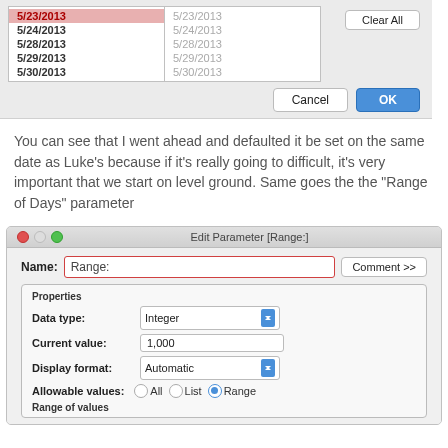[Figure (screenshot): macOS dialog showing a two-column date list (5/23/2013 selected, plus 5/24, 5/28, 5/29, 5/30/2013) with Clear All, Cancel, and OK buttons]
You can see that I went ahead and defaulted it be set on the same date as Luke’s because if it’s really going to difficult, it’s very important that we start on level ground. Same goes the the “Range of Days” parameter
[Figure (screenshot): macOS Edit Parameter [Range:] dialog window showing Name field with 'Range:', Properties section with Data type: Integer, Current value: 1,000, Display format: Automatic, Allowable values: All / List / Range (Range selected), and Range of values label at bottom]